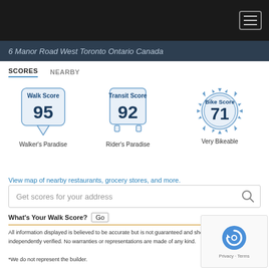Navigation header with hamburger menu
6 Manor Road West Toronto Ontario Canada
SCORES   NEARBY
[Figure (infographic): Three score badges: Walk Score 95 (Walker's Paradise), Transit Score 92 (Rider's Paradise), Bike Score 71 (Very Bikeable)]
View map of nearby restaurants, grocery stores, and more.
Get scores for your address
What's Your Walk Score? [Go]
All information displayed is believed to be accurate but is not guaranteed and should be independently verified. No warranties or representations are made of any kind.
*We do not represent the builder.